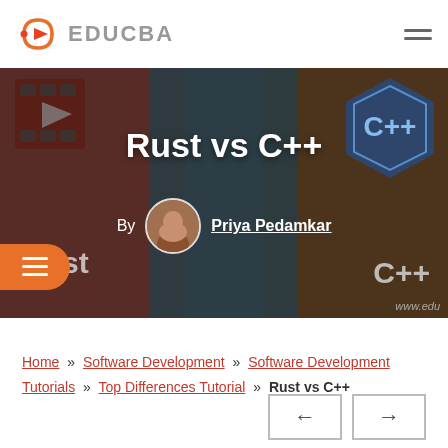EDUCBA
Rust vs C++
By Priya Pedamkar
[Figure (screenshot): Hero banner showing Rust vs C++ logos on a dark background with Rust and C++ text and author photo of Priya Pedamkar]
Home » Software Development » Software Development Tutorials » Top Differences Tutorial » Rust vs C++